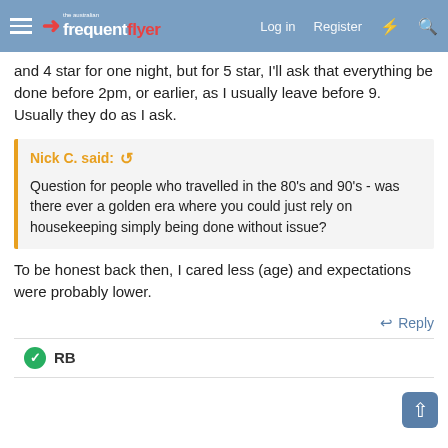the australian frequent flyer | Log in | Register
and 4 star for one night, but for 5 star, I'll ask that everything be done before 2pm, or earlier, as I usually leave before 9. Usually they do as I ask.
Nick C. said: Question for people who travelled in the 80's and 90's - was there ever a golden era where you could just rely on housekeeping simply being done without issue?
To be honest back then, I cared less (age) and expectations were probably lower.
Reply
RB